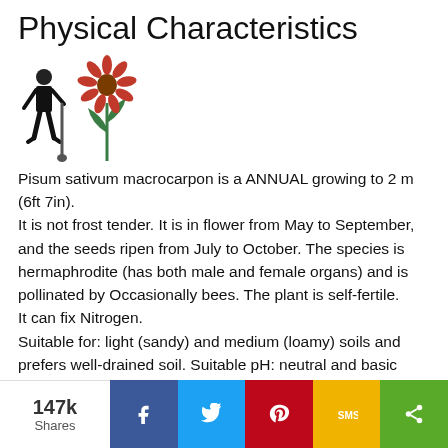Physical Characteristics
[Figure (illustration): A small illustration of a person/gardener figure on the left and a purple coneflower (Echinacea) on the right]
Pisum sativum macrocarpon is a ANNUAL growing to 2 m (6ft 7in).
It is not frost tender. It is in flower from May to September, and the seeds ripen from July to October. The species is hermaphrodite (has both male and female organs) and is pollinated by Occasionally bees. The plant is self-fertile.
It can fix Nitrogen.
Suitable for: light (sandy) and medium (loamy) soils and prefers well-drained soil. Suitable pH: neutral and basic (mildly alkaline) soils. It cannot grow in the shade. It prefers moist soil
147k Shares | Facebook | Twitter | Pinterest | SMS | Share